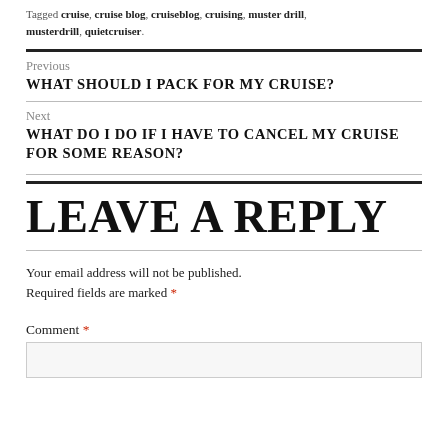Tagged cruise, cruise blog, cruiseblog, cruising, muster drill, musterdrill, quietcruiser.
Previous
WHAT SHOULD I PACK FOR MY CRUISE?
Next
WHAT DO I DO IF I HAVE TO CANCEL MY CRUISE FOR SOME REASON?
LEAVE A REPLY
Your email address will not be published. Required fields are marked *
Comment *